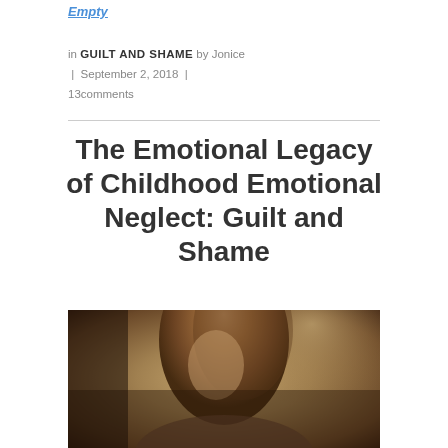Empty
in GUILT AND SHAME by Jonice | September 2, 2018 | 13comments
The Emotional Legacy of Childhood Emotional Neglect: Guilt and Shame
[Figure (photo): Close-up photo of a person with brown hair, head tilted, against a warm blurred background suggesting emotional distress or introspection]